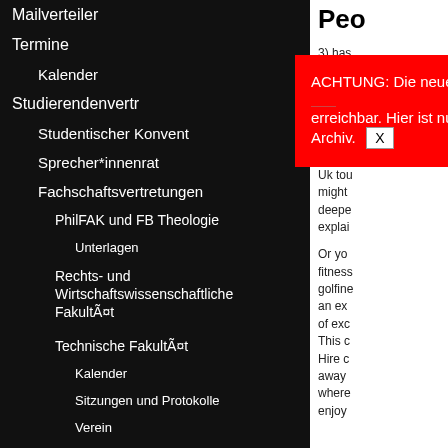Mailverteiler
Termine
Kalender
Studierendenverträ...
Studentischer Konvent
Sprecher*innenrat
Fachschaftsvertretungen
PhilFAK und FB Theologie
Unterlagen
Rechts- und Wirtschaftswissenschaftliche Fakultät
Technische Fakultät
Kalender
Sitzungen und Protokolle
Verein
FSIen
[Figure (screenshot): Red popup notification: ACHTUNG: Die neue Stuve-Webseite ist unter [link] erreichbar. Hier ist nur noch Archiv. [X close button]]
Peo
3) has provid Ryana nonet reaso refund daunt Uk tou might deepe explai
Or yo fitnes golfin an ex of exc This c Hire c away where enjoy